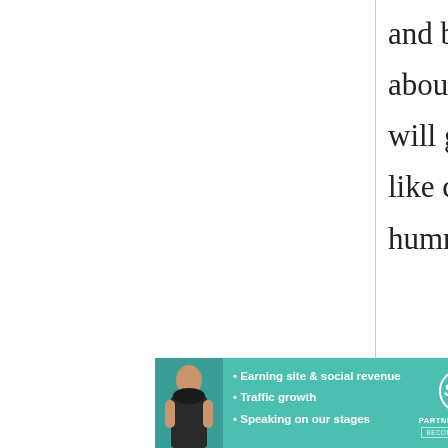and bake them in the oven for about 10 to 15 min and they will get crispy then eat plain like chips or dip them in salsa, hummus, guacamole.... etc.
Ashley
4 April, 2011 - 21:25
permalink
Re: Homemade whole wheat
[Figure (infographic): SHE PARTNER NETWORK advertisement banner with photo of woman, bullet points: Earning site & social revenue, Traffic growth, Speaking on our stages. LEARN MORE button.]